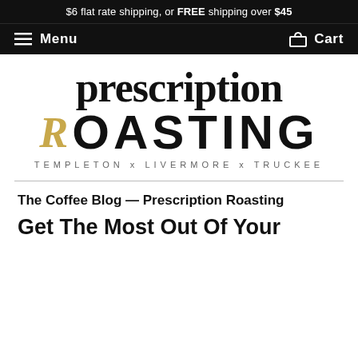$6 flat rate shipping, or FREE shipping over $45
Menu  Cart
[Figure (logo): Prescription Roasting logo with 'prescription' in serif bold, 'ROASTING' in large sans-serif bold with a gold italic R accent, and 'TEMPLETON x LIVERMORE x TRUCKEE' in spaced small caps below]
The Coffee Blog — Prescription Roasting
Get The Most Out Of Your